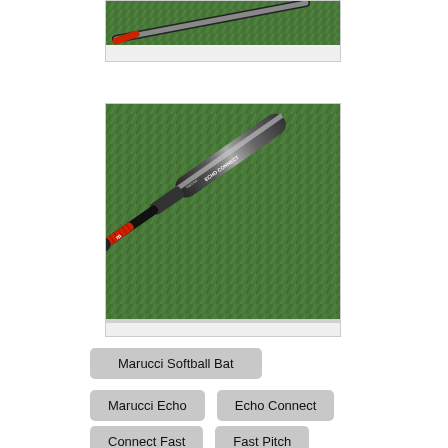[Figure (photo): Partial view of a Marucci softball bat on green grass background - top portion cropped]
[Figure (photo): Full side view of a Marucci Echo Connect softball bat lying diagonally on green artificial turf, with red grip tape and black/silver barrel]
Marucci Softball Bat
Marucci Echo
Echo Connect
Connect Fast
Fast Pitch